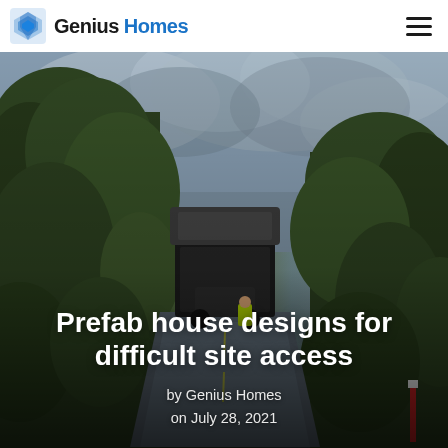Genius Homes
[Figure (photo): Road through dense green hedgerows and trees with overcast grey sky; a large truck with a high load visible in the centre of the narrow road; a worker in a hi-vis vest stands beside it.]
Prefab house designs for difficult site access
by Genius Homes
on July 28, 2021